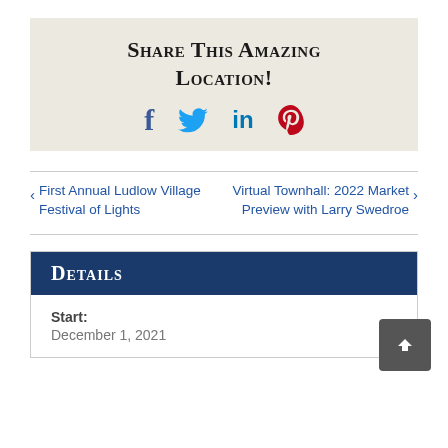Share This Amazing Location!
[Figure (infographic): Social media share icons: Facebook (f), Twitter (bird), LinkedIn (in), Pinterest (p)]
< First Annual Ludlow Village Festival of Lights
Virtual Townhall: 2022 Market Preview with Larry Swedroe >
Details
Start:
December 1, 2021